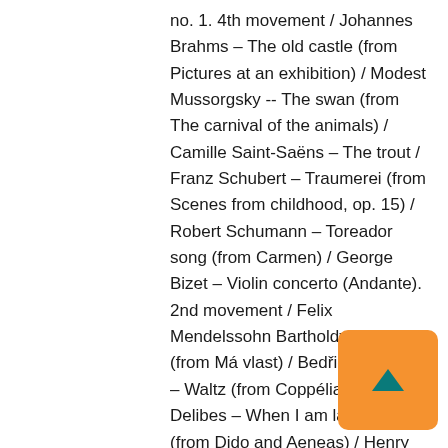no. 1. 4th movement / Johannes Brahms – The old castle (from Pictures at an exhibition) / Modest Mussorgsky -- The swan (from The carnival of the animals) / Camille Saint-Saëns – The trout / Franz Schubert – Traumerei (from Scenes from childhood, op. 15) / Robert Schumann – Toreador song (from Carmen) / George Bizet – Violin concerto (Andante). 2nd movement / Felix Mendelssohn Bartholdy – Vltava (from Má vlast) / Bedřich Smetana – Waltz (from Coppélia) / Léo Delibes – When I am laid in earth (from Dido and Aeneas) / Henry Purcell – Waltz, op. 39, no. 15 / Johannes Brahms. – ISBN 9781847614209. – 9790220136… 14 739